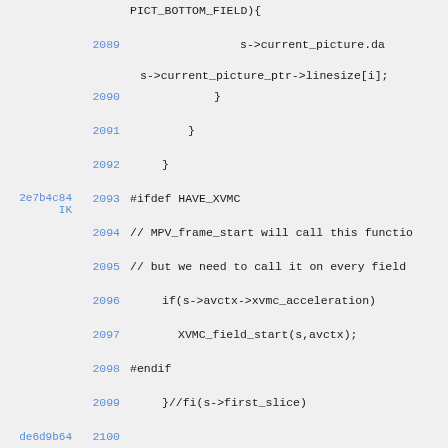Source code view lines 2089-2102 with git hash annotations
2089: s->current_picture.da s->current_picture_ptr->linesize[i];
2090: }
2091: }
2092: }
2e7b4c84 IK 2093: #ifdef HAVE_XVMC
2094: // MPV_frame_start will call this functio
2095: // but we need to call it on every field
2096:     if(s->avctx->xvmc_acceleration)
2097:         XVMC_field_start(s,avctx);
2098: #endif
2099:     }//fi(s->first_slice)
de6d9b64 2100:
80097bbf 2101:     init_get_bits(&s->gb, *buf, buf_size*
de6d9b64 2102: